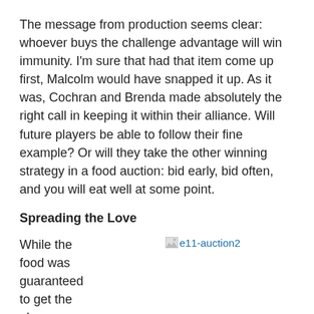The message from production seems clear: whoever buys the challenge advantage will win immunity. I'm sure that had that item come up first, Malcolm would have snapped it up. As it was, Cochran and Brenda made absolutely the right call in keeping it within their alliance. Will future players be able to follow their fine example? Or will they take the other winning strategy in a food auction: bid early, bid often, and you will eat well at some point.
Spreading the Love
While the food was guaranteed to get the players up and moving around again, the letters from
[Figure (photo): Broken image placeholder labeled 'e11-auction2']